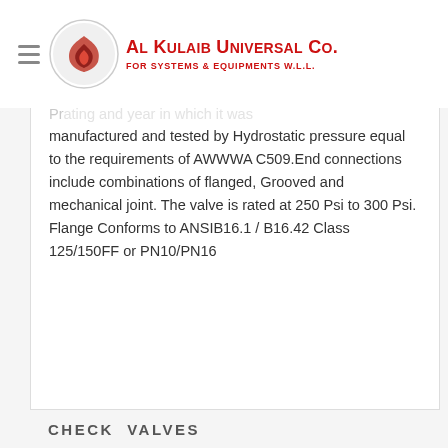Al Kulaib Universal Co. FOR SYSTEMS & EQUIPMENTS W.L.L.
manufactured and tested by Hydrostatic pressure equal to the requirements of AWWWA C509.End connections include combinations of flanged, Grooved and mechanical joint. The valve is rated at 250 Psi to 300 Psi. Flange Conforms to ANSIB16.1 / B16.42 Class125/150FF or PN10/PN16
CHECK VALVES